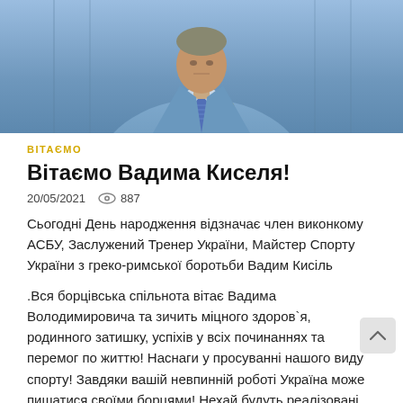[Figure (photo): Portrait photo of a man in a blue suit wearing a gold medal/order and striped tie, standing in front of decorative iron fence]
ВІТАЄМО
Вітаємо Вадима Киселя!
20/05/2021   887
Сьогодні День народження відзначає член виконкому АСБУ, Заслужений Тренер України, Майстер Спорту України з греко-римської боротьби Вадим Кисіль
.Вся борцівська спільнота вітає Вадима Володимировича та зичить міцного здоров`я, родинного затишку, успіхів у всіх починаннях та перемог по життю! Наснаги у просуванні нашого виду спорту! Завдяки вашій невпинній роботі Україна може пишатися своїми борцями! Нехай будуть реалізовані всі найамбітніші задуми та здійсняться